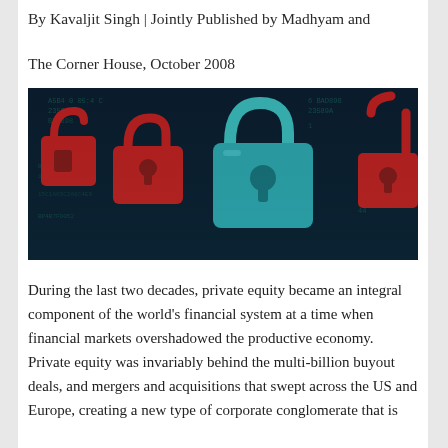By Kavaljit Singh | Jointly Published by Madhyam and The Corner House, October 2008
[Figure (photo): Digital image showing multiple padlocks (red and cyan/teal) against a dark background with binary/hexadecimal code overlay, symbolizing financial security or cybersecurity.]
During the last two decades, private equity became an integral component of the world's financial system at a time when financial markets overshadowed the productive economy. Private equity was invariably behind the multi-billion buyout deals, and mergers and acquisitions that swept across the US and Europe, creating a new type of corporate conglomerate that is